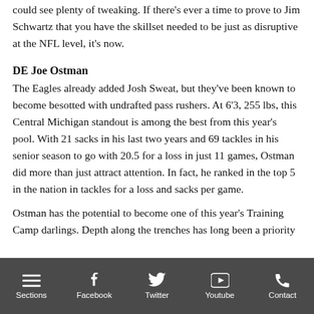could see plenty of tweaking. If there's ever a time to prove to Jim Schwartz that you have the skillset needed to be just as disruptive at the NFL level, it's now.
DE Joe Ostman
The Eagles already added Josh Sweat, but they've been known to become besotted with undrafted pass rushers. At 6'3, 255 lbs, this Central Michigan standout is among the best from this year's pool. With 21 sacks in his last two years and 69 tackles in his senior season to go with 20.5 for a loss in just 11 games, Ostman did more than just attract attention. In fact, he ranked in the top 5 in the nation in tackles for a loss and sacks per game.
Ostman has the potential to become one of this year's Training Camp darlings. Depth along the trenches has long been a priority
Sections  Facebook  Twitter  Youtube  Contact